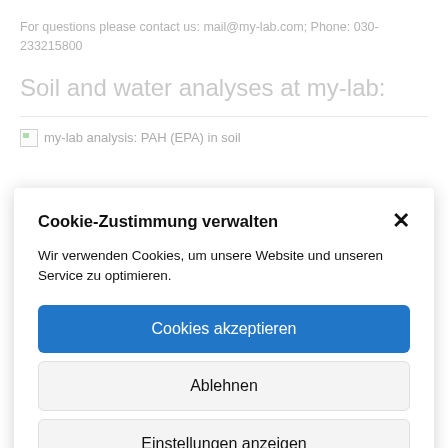For questions please contact us: mail@my-lab.com; Phone: 030-233215800
Soil and water analyses at my-lab:
[Figure (other): Broken image placeholder with alt text: my-lab analysis: PAH (EPA) in soil]
Cookie-Zustimmung verwalten
Wir verwenden Cookies, um unsere Website und unseren Service zu optimieren.
Cookies akzeptieren
Ablehnen
Einstellungen anzeigen